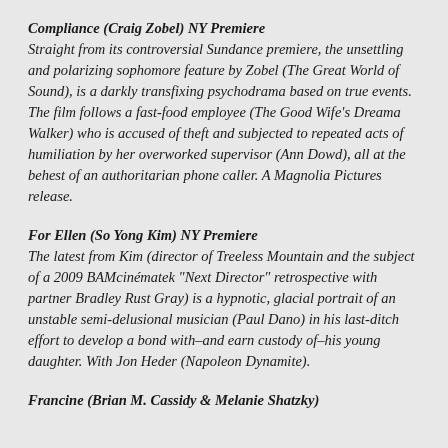Compliance (Craig Zobel) NY Premiere Straight from its controversial Sundance premiere, the unsettling and polarizing sophomore feature by Zobel (The Great World of Sound), is a darkly transfixing psychodrama based on true events. The film follows a fast-food employee (The Good Wife's Dreama Walker) who is accused of theft and subjected to repeated acts of humiliation by her overworked supervisor (Ann Dowd), all at the behest of an authoritarian phone caller. A Magnolia Pictures release.
For Ellen (So Yong Kim) NY Premiere The latest from Kim (director of Treeless Mountain and the subject of a 2009 BAMcinématek "Next Director" retrospective with partner Bradley Rust Gray) is a hypnotic, glacial portrait of an unstable semi-delusional musician (Paul Dano) in his last-ditch effort to develop a bond with–and earn custody of–his young daughter. With Jon Heder (Napoleon Dynamite).
Francine (Brian M. Cassidy & Melanie Shatzky)